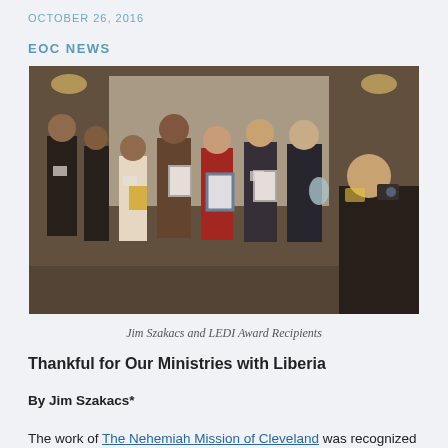OCTOBER 26, 2016
EOC NEWS
[Figure (photo): Group photo of Jim Szakacs and LEDI Award Recipients at an awards banquet, several people holding framed awards and glass trophies, a person in foreground photographing the group.]
Jim Szakacs and LEDI Award Recipients
Thankful for Our Ministries with Liberia
By Jim Szakacs*
The work of The Nehemiah Mission of Cleveland was recognized October 21 during the annual Liberia Economic Development Initiative (LEDI) banquet. I was honored to